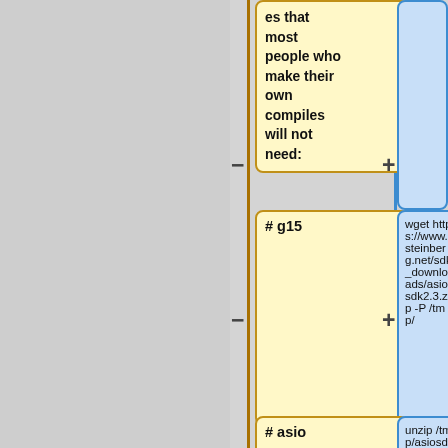[Figure (flowchart): A flowchart showing build/install steps. Left column has yellow boxes with step labels (#g15, #asio, #bonjour) and a text box describing compile steps. Right column has blue boxes with shell commands (wget, unzip, mv). Minus signs on left connectors, plus signs on right connectors.]
es that most people who make their own compiles will not need:
# g15
wget https://www.steinberg.net/sdk_downloads/asiosdk2.3.zip -P /tmp/
# asio
unzip /tmp/asiosdk2.3.zip -d /tmp/
# bonjour
/tmp/ASIOS